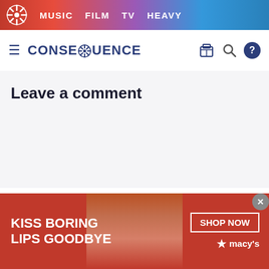MUSIC  FILM  TV  HEAVY
CONSEQUENCE
Leave a comment
Latest Stories
[Figure (screenshot): Advertisement banner: KISS BORING LIPS GOODBYE with a woman's face and SHOP NOW button and Macy's branding]